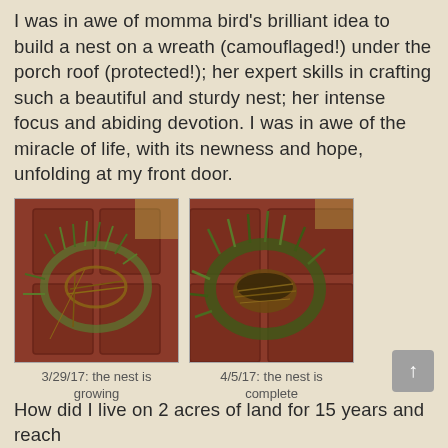I was in awe of momma bird's brilliant idea to build a nest on a wreath (camouflaged!) under the porch roof (protected!); her expert skills in crafting such a beautiful and sturdy nest; her intense focus and abiding devotion. I was in awe of the miracle of life, with its newness and hope, unfolding at my front door.
[Figure (photo): Photo of a bird nest growing on a wreath on a red door, dated 3/29/17]
3/29/17: the nest is growing
[Figure (photo): Photo of a completed bird nest on a wreath on a red door, dated 4/5/17]
4/5/17: the nest is complete
How did I live on 2 acres of land for 15 years and reach